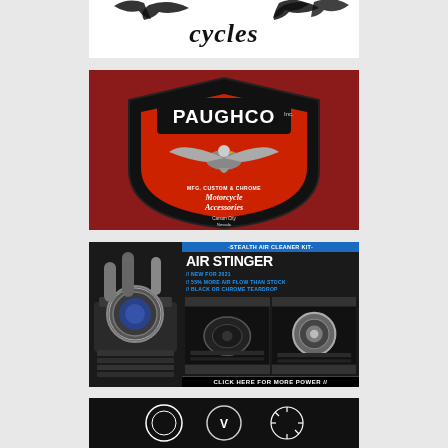[Figure (logo): Motorcycle shop 'cycles' logo with gothic/blackletter lettering and bird/wing graphics on white background]
[Figure (logo): Paughco Inc. motorcycle accessories logo: black shield with orange center, eagle graphic, text 'Motorcycle Accessories' on dark red background]
[Figure (infographic): Air Stinger stealth air cleaner kit advertisement. Left side: photo of chrome air cleaner on motorcycle engine. Right side: dark background with blue banner '-STEALTH AIR CLEANER KIT-', white bold text 'AIR STINGER', blue bullet points '// NEW FOR 2021', '// 55% MORE AIR FLOW THAN STOCK', '// BLACK OR CHROME TEARDROP', two small product photos, and black button 'CLICK HERE FOR MORE POWER //']
[Figure (logo): Partial black advertisement at bottom with white circular logo graphics visible]